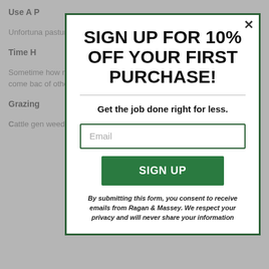Unfortunately pastures situation weeds wiper set weeds.
Time H
Sometimes how much crimson c grass soc has matu the South killed, but come bac of other a
Grazing
Cattle gen weed foli
[Figure (other): Email signup modal popup overlay with green border. Headline: SIGN UP FOR 10% OFF YOUR FIRST PURCHASE!. Subheadline: Get the job done right for less. Email input field. Green SIGN UP button. Consent text: By submitting this form, you consent to receive emails from Ragan & Massey. We respect your privacy and will never share your information.]
SIGN UP FOR 10% OFF YOUR FIRST PURCHASE!
Get the job done right for less.
SIGN UP
By submitting this form, you consent to receive emails from Ragan & Massey. We respect your privacy and will never share your information